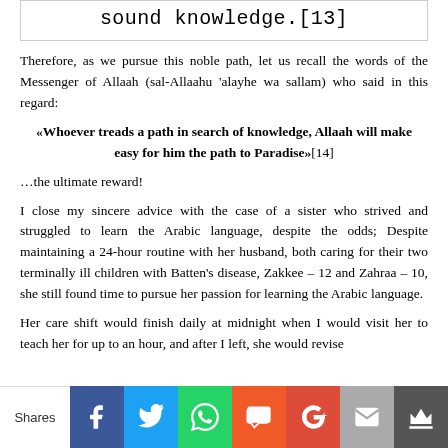sound knowledge.[13]
Therefore, as we pursue this noble path, let us recall the words of the Messenger of Allaah (sal-Allaahu ‘alayhe wa sallam) who said in this regard:
«Whoever treads a path in search of knowledge, Allaah will make easy for him the path to Paradise»[14]
…the ultimate reward!
I close my sincere advice with the case of a sister who strived and struggled to learn the Arabic language, despite the odds; Despite maintaining a 24-hour routine with her husband, both caring for their two terminally ill children with Batten’s disease, Zakkee – 12 and Zahraa – 10, she still found time to pursue her passion for learning the Arabic language.
Her care shift would finish daily at midnight when I would visit her to teach her for up to an hour, and after I left, she would revise
[Figure (infographic): Social media share bar with Shares label and icons: Facebook (blue), Twitter (light blue), WhatsApp (green), SMS (orange), Google+ (red), Email (grey), Crown/other (dark grey)]